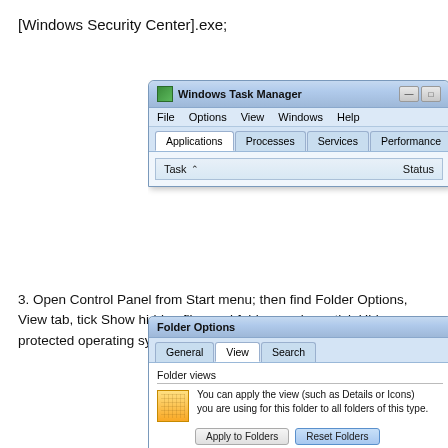[Windows Security Center].exe;
[Figure (screenshot): Windows Task Manager window showing Applications tab with Task and Status columns header]
3. Open Control Panel from Start menu; then find Folder Options, View tab, tick Show hidden files and folders and non-tick Hide protected operating system files (Recommended) then click OK;
[Figure (screenshot): Folder Options dialog showing View tab with Folder views section, Apply to Folders and Reset Folders buttons]